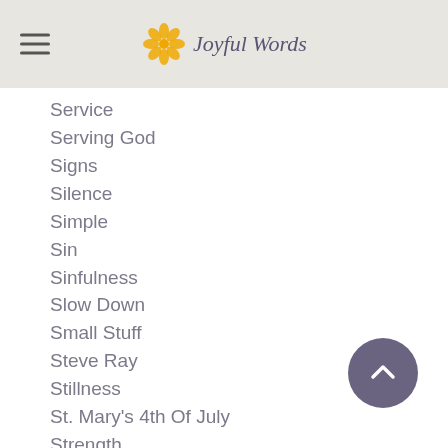Joyful Words
Service
Serving God
Signs
Silence
Simple
Sin
Sinfulness
Slow Down
Small Stuff
Steve Ray
Stillness
St. Mary's 4th Of July
Strength
Stress
Suffering
Surprises
Surrender
Temptation